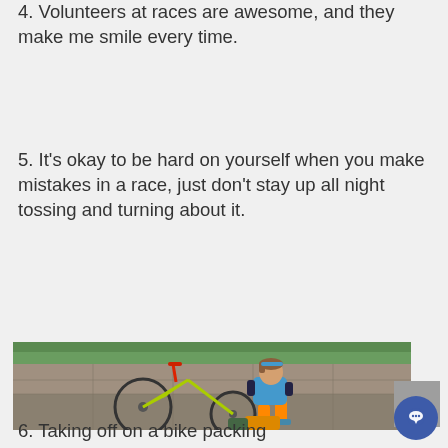4. Volunteers at races are awesome, and they make me smile every time.
5. It's okay to be hard on yourself when you make mistakes in a race, just don't stay up all night tossing and turning about it.
[Figure (photo): A cyclist sitting on the ground next to a mountain bike (yellow/green), wearing a blue jersey with orange arm warmers and orange compression socks, resting near gear bags on a paved surface outdoors.]
6. Taking off on a bike packing